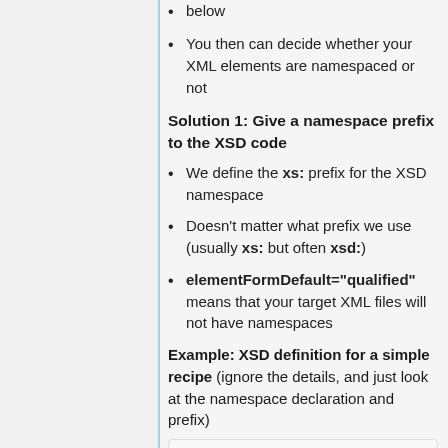below
You then can decide whether your XML elements are namespaced or not
Solution 1: Give a namespace prefix to the XSD code
We define the xs: prefix for the XSD namespace
Doesn't matter what prefix we use (usually xs: but often xsd:)
elementFormDefault="qualified" means that your target XML files will not have namespaces
Example: XSD definition for a simple recipe (ignore the details, and just look at the namespace declaration and prefix)
[Figure (screenshot): Code block showing XML declaration: <?xml version="1.0" encoding="UTF-8"?>]